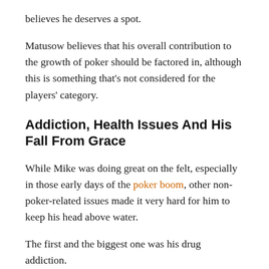believes he deserves a spot.
Matusow believes that his overall contribution to the growth of poker should be factored in, although this is something that's not considered for the players' category.
Addiction, Health Issues And His Fall From Grace
While Mike was doing great on the felt, especially in those early days of the poker boom, other non-poker-related issues made it very hard for him to keep his head above water.
The first and the biggest one was his drug addiction.
The challenging lifestyle of gambling, drugs, hardcore